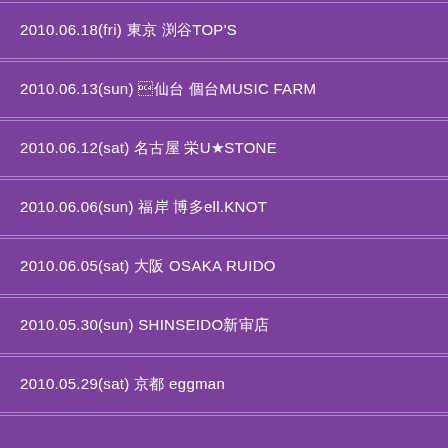2010.06.18(fri) 東京 渋谷TOP'S
2010.06.13(sun) 仙台 仙台MUSIC FARM
2010.06.12(sat) 名古屋 栄U★STONE
2010.06.06(sun) 福岡 博多ell.KNOT
2010.06.05(sat) 大阪 OSAKA RUIDO
2010.05.30(sun) SHINSEIDO新宿店
2010.05.29(sat) 京都 eggman